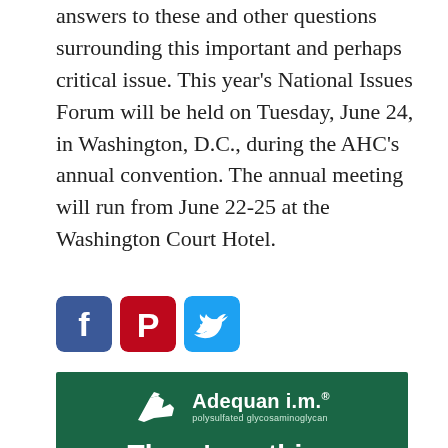answers to these and other questions surrounding this important and perhaps critical issue. This year's National Issues Forum will be held on Tuesday, June 24, in Washington, D.C., during the AHC's annual convention. The annual meeting will run from June 22-25 at the Washington Court Hotel.
[Figure (infographic): Three social media share buttons: Facebook (blue), Pinterest (red), Twitter (light blue)]
[Figure (infographic): Advertisement for Adequan i.m. (polysulfated glycosaminoglycan) on dark green background with horse logo and tagline 'There's nothing else like it.']